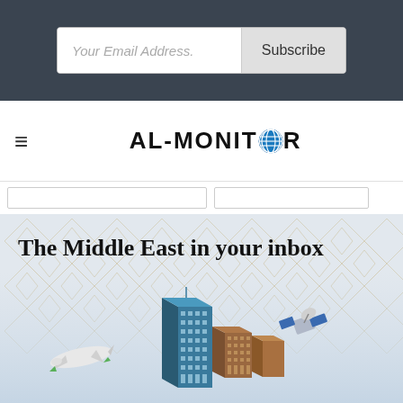[Figure (screenshot): Email subscription bar with 'Your Email Address.' input field and 'Subscribe' button on dark background]
[Figure (logo): AL-MONITOR logo with globe icon replacing the letter O, with hamburger menu icon to the left]
[Figure (illustration): Banner illustration: 'The Middle East in your inbox' title over geometric Islamic pattern background with cityscape, airplane, and satellite illustration]